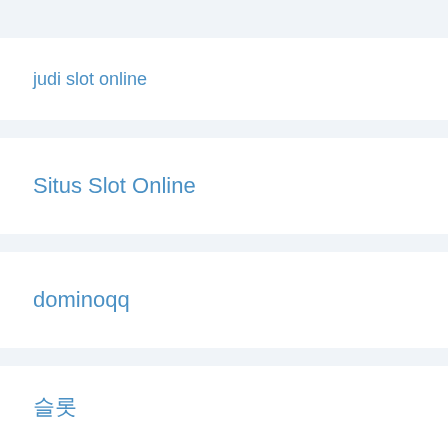judi slot online
Situs Slot Online
dominoqq
슬롯